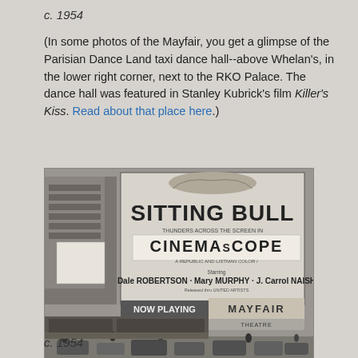c. 1954
(In some photos of the Mayfair, you get a glimpse of the Parisian Dance Land taxi dance hall--above Whelan's, in the lower right corner, next to the RKO Palace. The dance hall was featured in Stanley Kubrick's film Killer's Kiss. Read about that place here.)
[Figure (photo): Black and white street photograph circa 1954 showing a large billboard advertising the film 'Sitting Bull' in CinemaScope, starring Dale Robertson, Mary Murphy, and J. Carrol Naish. The Mayfair Theatre marquee is visible below the billboard, along with busy street traffic.]
c. 1954